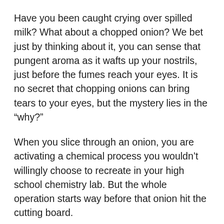Have you been caught crying over spilled milk? What about a chopped onion? We bet just by thinking about it, you can sense that pungent aroma as it wafts up your nostrils, just before the fumes reach your eyes. It is no secret that chopping onions can bring tears to your eyes, but the mystery lies in the “why?”
When you slice through an onion, you are activating a chemical process you wouldn’t willingly choose to recreate in your high school chemistry lab. But the whole operation starts way before that onion hit the cutting board.
The Birth of the Onion